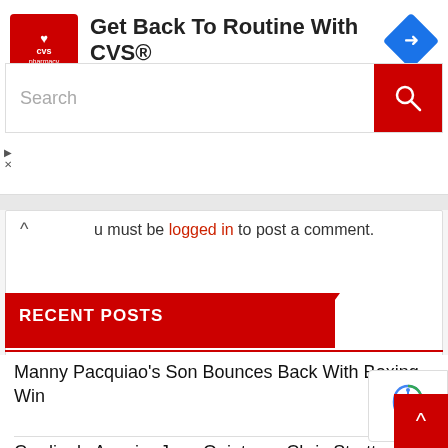[Figure (screenshot): CVS Pharmacy advertisement banner with red logo square, text 'Get Back To Routine With CVS®' and 'CVS Pharmacy' in blue, and a blue navigation arrow icon on the right]
You must be logged in to post a comment.
[Figure (screenshot): Search bar with placeholder text 'Search' and a red search button with magnifying glass icon]
RECENT POSTS
Manny Pacquiao's Son Bounces Back With Boxing Win
Cardinals Acquire Jose Quintana, Chris Stratton From Pirates